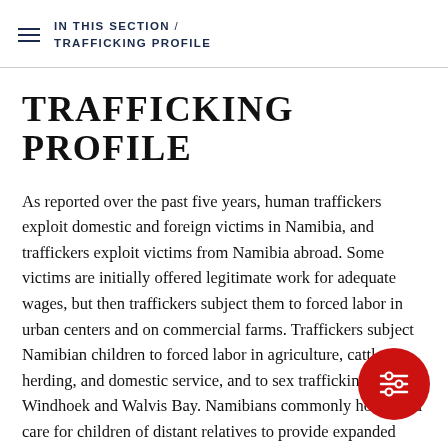IN THIS SECTION / TRAFFICKING PROFILE
TRAFFICKING PROFILE
As reported over the past five years, human traffickers exploit domestic and foreign victims in Namibia, and traffickers exploit victims from Namibia abroad. Some victims are initially offered legitimate work for adequate wages, but then traffickers subject them to forced labor in urban centers and on commercial farms. Traffickers subject Namibian children to forced labor in agriculture, cattle herding, and domestic service, and to sex trafficking in Windhoek and Walvis Bay. Namibians commonly house and care for children of distant relatives to provide expanded educational